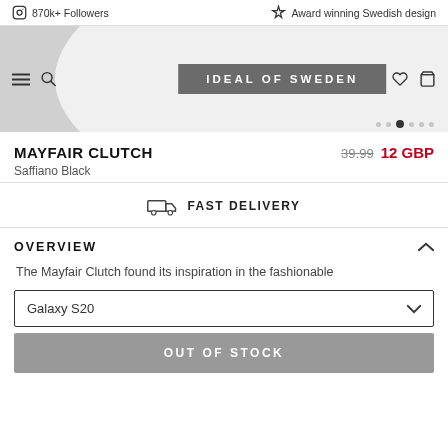870k+ Followers   Award winning Swedish design
[Figure (screenshot): Hero banner image showing Ideal of Sweden branding with navigation bar icons]
MAYFAIR CLUTCH   39.99  12 GBP
Saffiano Black
FAST DELIVERY
OVERVIEW
The Mayfair Clutch found its inspiration in the fashionable
Galaxy S20
OUT OF STOCK